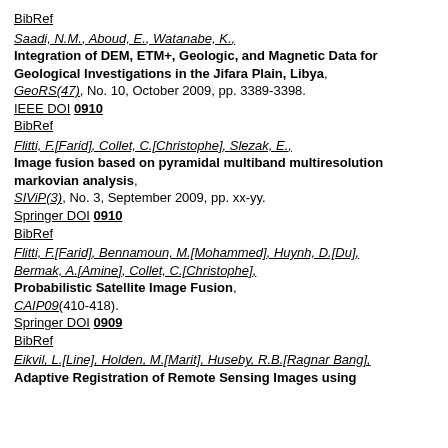BibRef
Saadi, N.M., Aboud, E., Watanabe, K., Integration of DEM, ETM+, Geologic, and Magnetic Data for Geological Investigations in the Jifara Plain, Libya, GeoRS(47), No. 10, October 2009, pp. 3389-3398. IEEE DOI 0910 BibRef
Flitti, F.[Farid], Collet, C.[Christophe], Slezak, E., Image fusion based on pyramidal multiband multiresolution markovian analysis, SIViP(3), No. 3, September 2009, pp. xx-yy. Springer DOI 0910 BibRef
Flitti, F.[Farid], Bennamoun, M.[Mohammed], Huynh, D.[Du], Bermak, A.[Amine], Collet, C.[Christophe], Probabilistic Satellite Image Fusion, CAIP09(410-418). Springer DOI 0909 BibRef
Eikvil, L.[Line], Holden, M.[Marit], Huseby, R.B.[Ragnar Bang], Adaptive Registration of Remote Sensing Images using